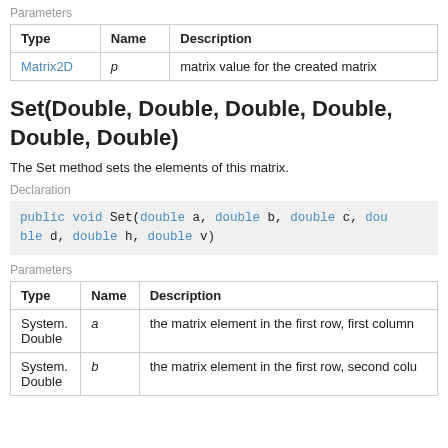Parameters
| Type | Name | Description |
| --- | --- | --- |
| Matrix2D | p | matrix value for the created matrix |
Set(Double, Double, Double, Double, Double, Double)
The Set method sets the elements of this matrix.
Declaration
public void Set(double a, double b, double c, double d, double h, double v)
Parameters
| Type | Name | Description |
| --- | --- | --- |
| System.Double | a | the matrix element in the first row, first column |
| System.Double | b | the matrix element in the first row, second column |